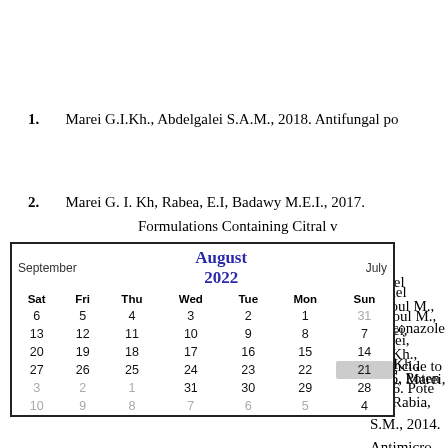1. Marei G.I.Kh., Abdelgalei S.A.M., 2018. Antifungal po
2. Marei G. I. Kh, Rabea, E.I, Badawy M.E.I., 2017. Formulations Containing Citral v
[Figure (other): August 2022 calendar widget with September and July navigation links, showing dates from July 31 to September 10]
3. Abdel Rasoul M., Marei, G.I.Kh., 2016. Poten penconazole fungicide to whi
4. ...M., Marei, G., Rabia, S.M., 2014. Antimicro